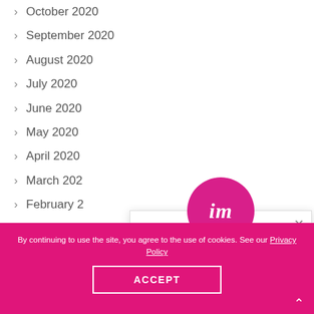October 2020
September 2020
August 2020
July 2020
June 2020
May 2020
April 2020
March 202
February 2
November
July 2019
[Figure (other): Popup dialog with 'im' logo, marketing support message, and contact emails hello@imlondon.co.uk and hello@imdubai.ae]
By continuing to use the site, you agree to the use of cookies. See our Privacy Policy
ACCEPT